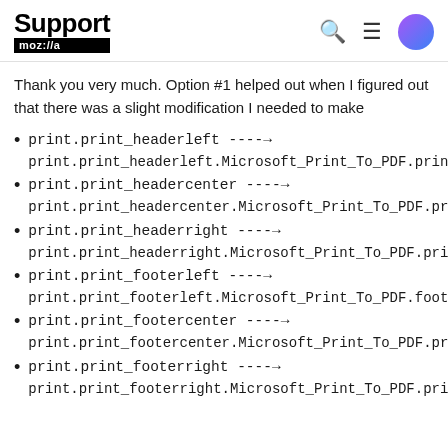Support moz://a
Thank you very much. Option #1 helped out when I figured out that there was a slight modification I needed to make
print.print_headerleft ----> print.print_headerleft.Microsoft_Print_To_PDF.print_hea
print.print_headercenter ----> print.print_headercenter.Microsoft_Print_To_PDF.print_h
print.print_headerright ----> print.print_headerright.Microsoft_Print_To_PDF.print_he
print.print_footerleft ----> print.print_footerleft.Microsoft_Print_To_PDF.footerlef
print.print_footercenter ----> print.print_footercenter.Microsoft_Print_To_PDF.print_f
print.print_footerright ----> print.print_footerright.Microsoft_Print_To_PDF.print_foo